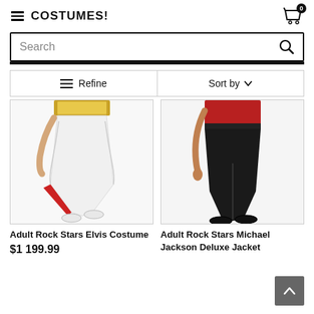COSTUMES!
[Figure (screenshot): Search bar with magnifying glass icon]
[Figure (screenshot): Refine and Sort by filter bar]
[Figure (photo): Adult Rock Stars Elvis Costume - white flared pants with red lining and gold belt]
[Figure (photo): Adult Rock Stars Michael Jackson Deluxe Jacket - black pants with red jacket]
Adult Rock Stars Elvis Costume
$1,199.99
Adult Rock Stars Michael Jackson Deluxe Jacket